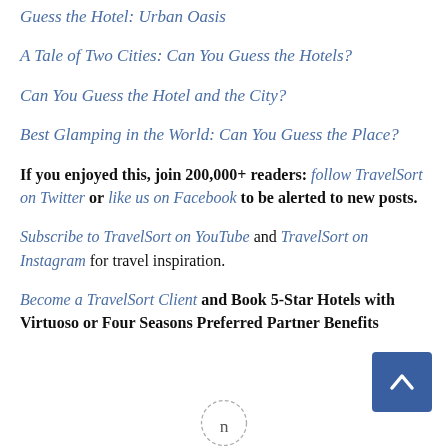Guess the Hotel: Urban Oasis
A Tale of Two Cities: Can You Guess the Hotels?
Can You Guess the Hotel and the City?
Best Glamping in the World: Can You Guess the Place?
If you enjoyed this, join 200,000+ readers: follow TravelSort on Twitter or like us on Facebook to be alerted to new posts.
Subscribe to TravelSort on YouTube and TravelSort on Instagram for travel inspiration.
Become a TravelSort Client and Book 5-Star Hotels with Virtuoso or Four Seasons Preferred Partner Benefits